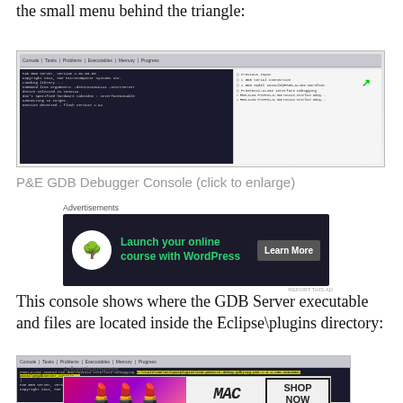the small menu behind the triangle:
[Figure (screenshot): P&E GDB Debugger Console screenshot showing Eclipse IDE with dropdown menu and green arrow indicator]
P&E GDB Debugger Console (click to enlarge)
[Figure (screenshot): Advertisement banner: Launch your online course with WordPress - Learn More]
This console shows where the GDB Server executable and files are located inside the Eclipse\plugins directory:
[Figure (screenshot): Console screenshot showing GDB Server path highlighted in yellow inside Eclipse plugins directory]
[Figure (screenshot): Advertisement banner: MAC cosmetics - Shop Now]